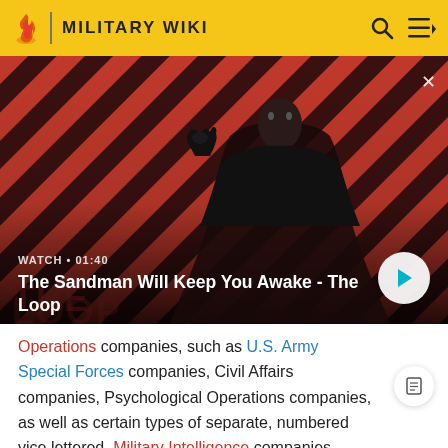MILITARY WIKI
[Figure (screenshot): Video thumbnail showing a dark-dressed figure with a crow on their shoulder against a red and black diagonal striped background, with overlay text 'WATCH • 01:40' and title 'The Sandman Will Keep You Awake - The Loop', and a play button.]
Operations companies, such as U.S. Army Special Forces companies, Civil Affairs companies, Psychological Operations companies, as well as certain types of separate, numbered vice lettered, Military Intelligence companies.